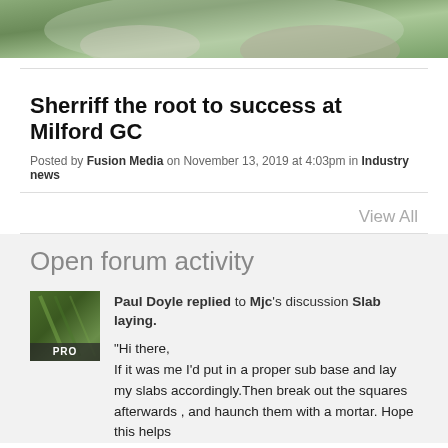[Figure (photo): Partial photo of a person outdoors near plants, cropped to top portion]
Sherriff the root to success at Milford GC
Posted by Fusion Media on November 13, 2019 at 4:03pm in Industry news
View All
Open forum activity
[Figure (photo): User avatar thumbnail showing a green lawn/turf image with PRO badge overlay]
Paul Doyle replied to Mjc's discussion Slab laying.
"Hi there,
If it was me I'd put in a proper sub base and lay my slabs accordingly.Then break out the squares afterwards , and haunch them with a mortar. Hope this helps